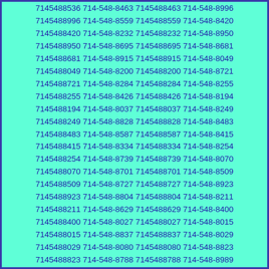7145488885 714-548-8511 7145488511 714-548-8161 7145488161 714-548-8101 7145488101 714-548-8884 7145488884 714-548-8494 7145488494 714-548-8536 7145488536 714-548-8463 7145488463 714-548-8996 7145488996 714-548-8559 7145488559 714-548-8420 7145488420 714-548-8232 7145488232 714-548-8950 7145488950 714-548-8695 7145488695 714-548-8681 7145488681 714-548-8915 7145488915 714-548-8049 7145488049 714-548-8200 7145488200 714-548-8721 7145488721 714-548-8284 7145488284 714-548-8255 7145488255 714-548-8426 7145488426 714-548-8194 7145488194 714-548-8037 7145488037 714-548-8249 7145488249 714-548-8828 7145488828 714-548-8483 7145488483 714-548-8587 7145488587 714-548-8415 7145488415 714-548-8334 7145488334 714-548-8254 7145488254 714-548-8739 7145488739 714-548-8070 7145488070 714-548-8701 7145488701 714-548-8509 7145488509 714-548-8727 7145488727 714-548-8923 7145488923 714-548-8804 7145488804 714-548-8211 7145488211 714-548-8629 7145488629 714-548-8400 7145488400 714-548-8027 7145488027 714-548-8015 7145488015 714-548-8837 7145488837 714-548-8029 7145488029 714-548-8080 7145488080 714-548-8823 7145488823 714-548-8788 7145488788 714-548-8989 7145488989 714-548-8299 7145488299 714-548-8073 7145488073 714-548-8982 7145488982 714-548-8941 7145488941 714-548-8713 7145488713 714-548-8716